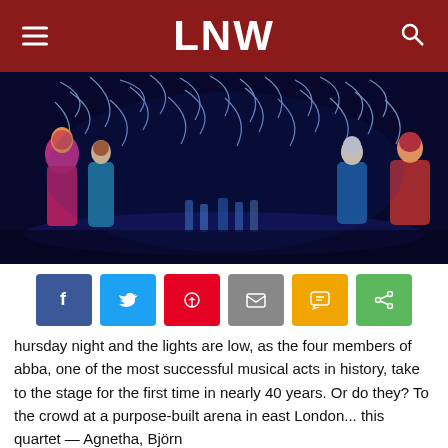LNW
[Figure (photo): Stage performance showing four ABBA members in colorful costumes on a large stage with blue lighting and swirling light projections. Background dancers visible in the distance.]
hursday night and the lights are low, as the four members of abba, one of the most successful musical acts in history, take to the stage for the first time in nearly 40 years. Or do they? To the crowd at a purpose-built arena in east London... this quartet — Agnetha, Björn...